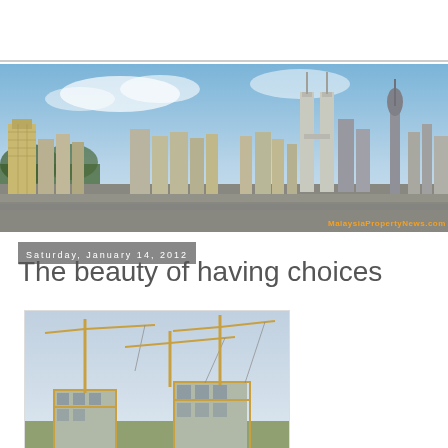[Figure (photo): Panoramic skyline of Kuala Lumpur showing skyscrapers including the Petronas Twin Towers and KL Tower, with a blue sky and forested foreground. Watermark reads 'MalaysiaPropertyNews.com' in orange text at bottom right.]
Saturday, January 14, 2012
The beauty of having choices
[Figure (photo): Construction site showing multiple yellow tower cranes and partially built multi-storey building frames under a light blue sky.]